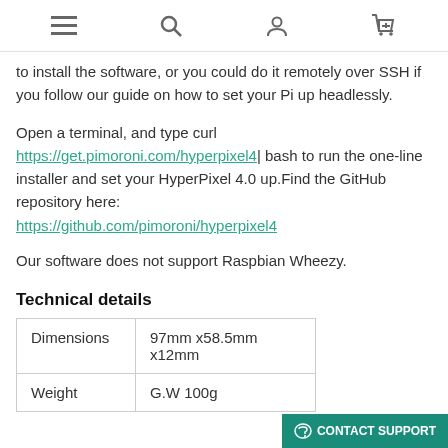Navigation bar with menu, search, user, and cart icons
to install the software, or you could do it remotely over SSH if you follow our guide on how to set your Pi up headlessly.
Open a terminal, and type curl https://get.pimoroni.com/hyperpixel4 | bash to run the one-line installer and set your HyperPixel 4.0 up.Find the GitHub repository here: https://github.com/pimoroni/hyperpixel4
Our software does not support Raspbian Wheezy.
Technical details
| Dimensions | 97mm x58.5mm x12mm |
| Weight | G.W 100g |